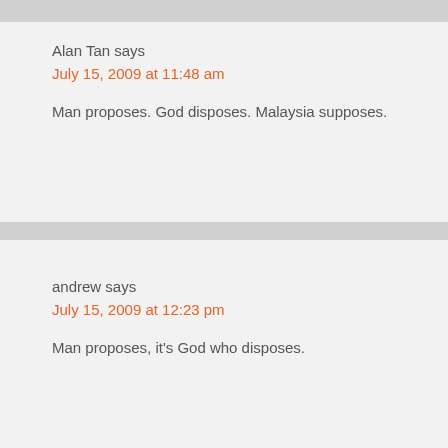Alan Tan says
July 15, 2009 at 11:48 am
Man proposes. God disposes. Malaysia supposes.
andrew says
July 15, 2009 at 12:23 pm
Man proposes, it's God who disposes.